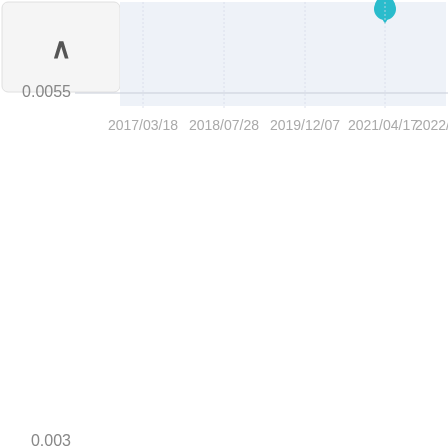[Figure (continuous-plot): Partial time-series line chart (cropped). X-axis shows dates from 2017/03/18 to 2022/08/28. Y-axis shows values around 0.0055 at the top and 0.003 at the bottom (cut off). A teal/cyan data point marker is visible near the top right around 2021/04/17. The chart area has a light blue-grey background. A collapse/up-arrow button is visible in the top-left.]